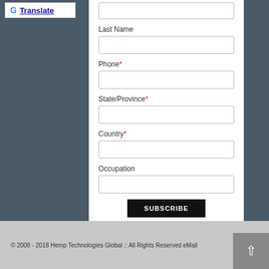[Figure (logo): Google Translate badge with G logo and 'Translate' link text]
Last Name
Phone*
State/Province*
Country*
Occupation
SUBSCRIBE
© 2008 - 2018 Hemp Technologies Global :: All Rights Reserved eMail